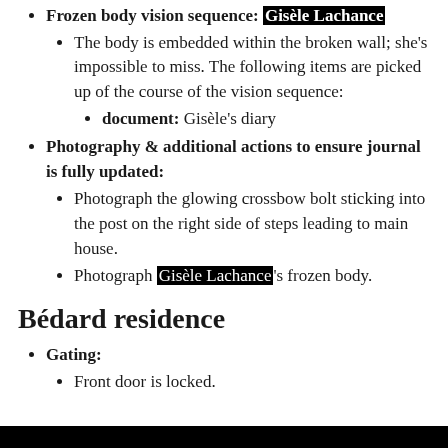Frozen body vision sequence: [Gisèle Lachance]
The body is embedded within the broken wall; she's impossible to miss. The following items are picked up of the course of the vision sequence:
document: Gisèle's diary
Photography & additional actions to ensure journal is fully updated:
Photograph the glowing crossbow bolt sticking into the post on the right side of steps leading to main house.
Photograph Gisèle Lachance's frozen body.
Bédard residence
Gating:
Front door is locked.